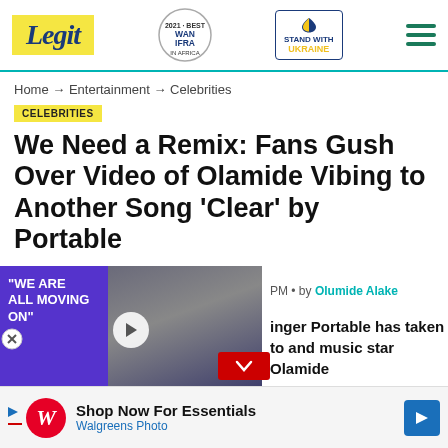Legit | WAN IFRA 2021 Best News Website in Africa | Stand with Ukraine
Home → Entertainment → Celebrities
CELEBRITIES
We Need a Remix: Fans Gush Over Video of Olamide Vibing to Another Song 'Clear' by Portable
PM · by Olumide Alake
[Figure (photo): Video thumbnail showing two people with purple overlay and text 'WE ARE ALL MOVING ON']
inger Portable has taken to and music star Olamide
[Figure (other): Walgreens Photo advertisement banner: Shop Now For Essentials]